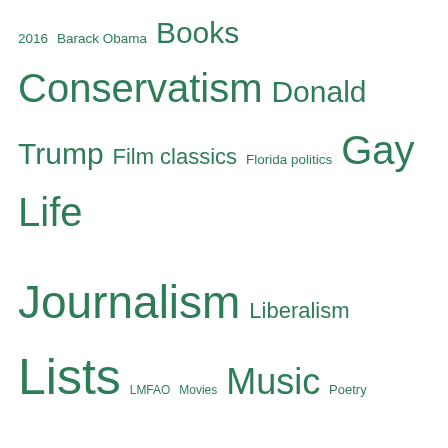[Figure (other): Tag cloud with various topic tags in different sizes, all in green: 2016, Barack Obama, Books, Conservatism, Donald Trump, Film classics, Florida politics, Gay Life, Journalism, Liberalism, Lists, LMFAO, Movies, Music, Poetry, Politics, Ranked, RIP, Supreme Court, Writing]
Archives
September 2022
August 2022
July 2022
June 2022
May 2022
April 2022
March 2022
February 2022